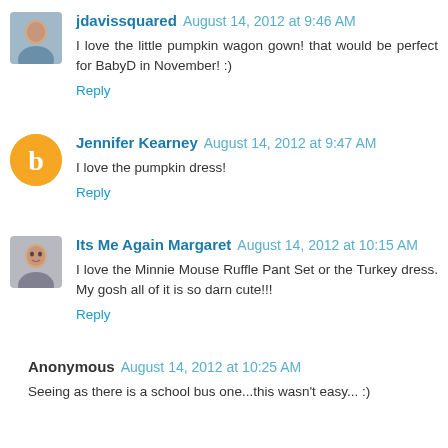jdavissquared August 14, 2012 at 9:46 AM
I love the little pumpkin wagon gown! that would be perfect for BabyD in November! :)
Reply
Jennifer Kearney August 14, 2012 at 9:47 AM
I love the pumpkin dress!
Reply
Its Me Again Margaret August 14, 2012 at 10:15 AM
I love the Minnie Mouse Ruffle Pant Set or the Turkey dress. My gosh all of it is so darn cute!!!
Reply
Anonymous August 14, 2012 at 10:25 AM
Seeing as there is a school bus one...this wasn't easy... :)